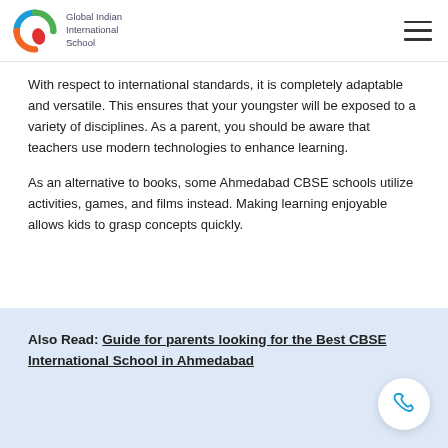Global Indian International School
With respect to international standards, it is completely adaptable and versatile. This ensures that your youngster will be exposed to a variety of disciplines. As a parent, you should be aware that teachers use modern technologies to enhance learning.
As an alternative to books, some Ahmedabad CBSE schools utilize activities, games, and films instead. Making learning enjoyable allows kids to grasp concepts quickly.
Also Read: Guide for parents looking for the Best CBSE International School in Ahmedabad